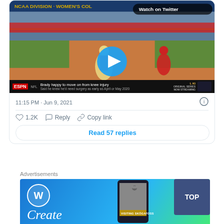[Figure (screenshot): Embedded Twitter/X card showing an NCAA Division Women's softball video with a blue play button overlay and ESPN ticker bar at bottom reading 'Brady happy to move on from knee injury'. Badge in top-right reads 'Watch on Twitter'.]
11:15 PM · Jun 9, 2021
♡ 1.2K   Reply   Copy link
Read 57 replies
Advertisements
[Figure (screenshot): WordPress advertisement banner with blue gradient background, WordPress logo, 'Create' italic text, phone mockup showing travel image labeled 'VISITING SKÓGAFOSS', and a 'TOP' button in dark blue on the right.]